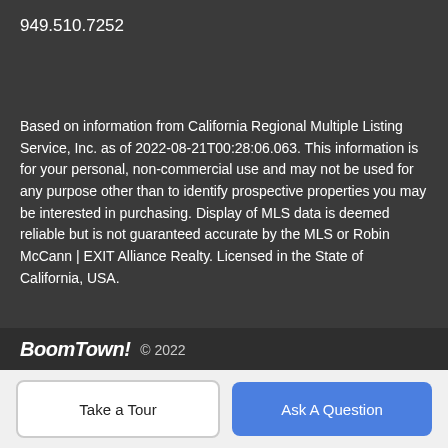949.510.7252
Based on information from California Regional Multiple Listing Service, Inc. as of 2022-08-21T00:28:06.063. This information is for your personal, non-commercial use and may not be used for any purpose other than to identify prospective properties you may be interested in purchasing. Display of MLS data is deemed reliable but is not guaranteed accurate by the MLS or Robin McCann | EXIT Alliance Realty. Licensed in the State of California, USA.
BoomTown! © 2022
Terms of Use | Privacy Policy | Accessibility | DMCA | Listings Sitemap
Take a Tour
Ask A Question